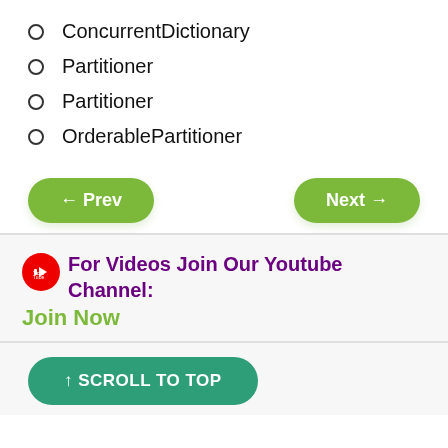ConcurrentDictionary
Partitioner
Partitioner
OrderablePartitioner
← Prev   Next →
For Videos Join Our Youtube Channel: Join Now
↑ SCROLL TO TOP